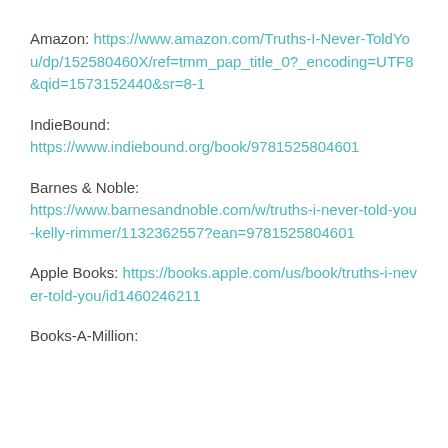Amazon: https://www.amazon.com/Truths-I-Never-ToldYou/dp/152580460X/ref=tmm_pap_title_0?_encoding=UTF8&qid=1573152440&sr=8-1
IndieBound: https://www.indiebound.org/book/9781525804601
Barnes & Noble: https://www.barnesandnoble.com/w/truths-i-never-told-you-kelly-rimmer/1132362557?ean=9781525804601
Apple Books: https://books.apple.com/us/book/truths-i-never-told-you/id1460246211
Books-A-Million: